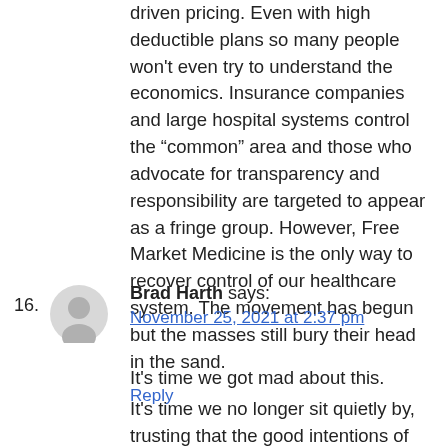driven pricing. Even with high deductible plans so many people won't even try to understand the economics. Insurance companies and large hospital systems control the “common” area and those who advocate for transparency and responsibility are targeted to appear as a fringe group. However, Free Market Medicine is the only way to recover control of our healthcare system. The movement has begun but the masses still bury their head in the sand.
Reply
Brad Harth says:
November 25, 2021 at 2:37 pm
It's time we got mad about this.
It's time we no longer sit quietly by, trusting that the good intentions of those who fail to appreciate what The United States of America is.
It's time we attack the ideas of intellectually lazy in a